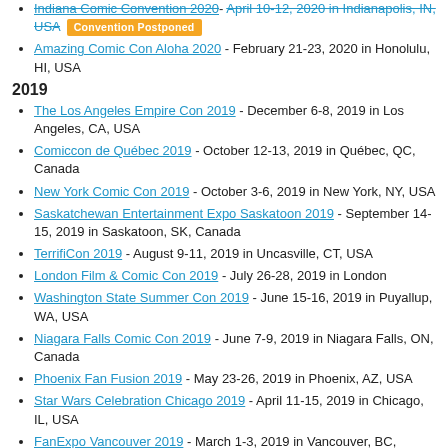Indiana Comic Convention 2020 - April 10-12, 2020 in Indianapolis, IN, USA [Convention Postponed]
Amazing Comic Con Aloha 2020 - February 21-23, 2020 in Honolulu, HI, USA
2019
The Los Angeles Empire Con 2019 - December 6-8, 2019 in Los Angeles, CA, USA
Comiccon de Québec 2019 - October 12-13, 2019 in Québec, QC, Canada
New York Comic Con 2019 - October 3-6, 2019 in New York, NY, USA
Saskatchewan Entertainment Expo Saskatoon 2019 - September 14-15, 2019 in Saskatoon, SK, Canada
TerrifiCon 2019 - August 9-11, 2019 in Uncasville, CT, USA
London Film & Comic Con 2019 - July 26-28, 2019 in London
Washington State Summer Con 2019 - June 15-16, 2019 in Puyallup, WA, USA
Niagara Falls Comic Con 2019 - June 7-9, 2019 in Niagara Falls, ON, Canada
Phoenix Fan Fusion 2019 - May 23-26, 2019 in Phoenix, AZ, USA
Star Wars Celebration Chicago 2019 - April 11-15, 2019 in Chicago, IL, USA
FanExpo Vancouver 2019 - March 1-3, 2019 in Vancouver, BC,